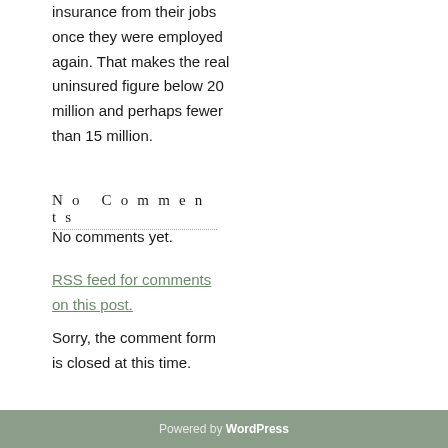insurance from their jobs once they were employed again. That makes the real uninsured figure below 20 million and perhaps fewer than 15 million.
No Comments
No comments yet.
RSS feed for comments on this post.
Sorry, the comment form is closed at this time.
Powered by WordPress